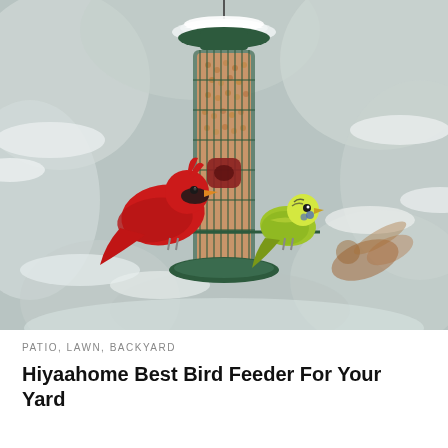[Figure (photo): A bird feeder hanging outdoors in a snowy winter scene. The feeder is a cylindrical tube-style feeder with a dark green metal cage frame filled with small round seeds (millet or similar). A bright red male northern cardinal perches on the left side of the feeder, and a yellow-green budgerigar (parakeet) perches on the right side. A third bird is blurred in the background flying toward the feeder. Snow-covered evergreen tree branches are visible in the background, creating a soft bokeh effect.]
PATIO, LAWN, BACKYARD
Hiyaahome Best Bird Feeder For Your Yard